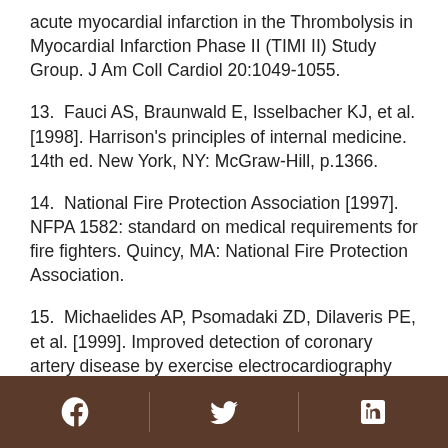acute myocardial infarction in the Thrombolysis in Myocardial Infarction Phase II (TIMI II) Study Group. J Am Coll Cardiol 20:1049-1055.
13. Fauci AS, Braunwald E, Isselbacher KJ, et al. [1998]. Harrison's principles of internal medicine. 14th ed. New York, NY: McGraw-Hill, p.1366.
14. National Fire Protection Association [1997]. NFPA 1582: standard on medical requirements for fire fighters. Quincy, MA: National Fire Protection Association.
15. Michaelides AP, Psomadaki ZD, Dilaveris PE, et al. [1999]. Improved detection of coronary artery disease by exercise electrocardiography
[Facebook] [Twitter] [LinkedIn]